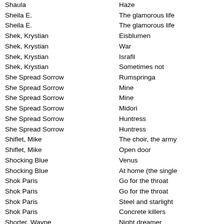| Artist | Album |
| --- | --- |
| Shaula | Haze |
| Sheila E. | The glamorous life |
| Sheila E. | The glamorous life |
| Shek, Krystian | Eisblumen |
| Shek, Krystian | War |
| Shek, Krystian | Israfil |
| Shek, Krystian | Sometimes not |
| She Spread Sorrow | Rumspringa |
| She Spread Sorrow | Mine |
| She Spread Sorrow | Mine |
| She Spread Sorrow | Midori |
| She Spread Sorrow | Huntress |
| She Spread Sorrow | Huntress |
| Shiflet, Mike | The choir, the army |
| Shiflet, Mike | Open door |
| Shocking Blue | Venus |
| Shocking Blue | At home (the single |
| Shok Paris | Go for the throat |
| Shok Paris | Go for the throat |
| Shok Paris | Steel and starlight |
| Shok Paris | Concrete killers |
| Shorter, Wayne | Night dreamer |
| Shorter, Wayne | Juju' |
| Shorter, Wayne | Speak no evil |
| Shorter, Wayne | Etcetera |
| Shorter, Wayne | Etcetera |
| Shorter, Wayne | The all seeing eye |